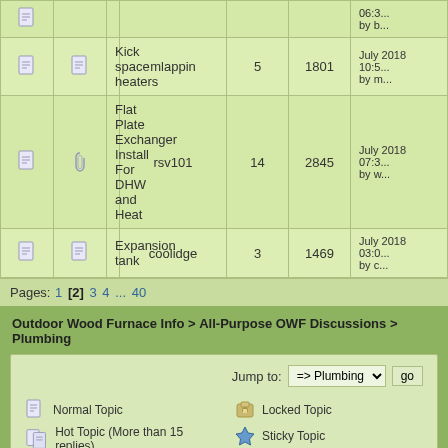|  |  | Topic | Started by | Replies | Views | Last post |
| --- | --- | --- | --- | --- | --- | --- |
| [icon] | [icon] | (partial row cut off) |  |  |  | 06:3... by b... |
| [icon] | [icon] | Kick space heaters | mlappin | 5 | 1801 | July 2018 10:5... by m... |
| [icon] | [icon] | Flat Plate Exchanger Install For DHW and Heat | rsv101 | 14 | 2845 | July 2018 07:3... by w... |
| [icon] | [icon] | Expansion tank | coolidge | 3 | 1469 | July 2018 03:0... by c... |
Pages: 1 [2] 3 4 ... 40
Outdoor Wood Furnace Info > All-Purpose OWF Discussions > Plumbing
Jump to: => Plumbing  go
Normal Topic
Hot Topic (More than 15 replies)
Very Hot Topic (More than 25 replies)
Locked Topic
Sticky Topic
Poll
SMF 2.0.15 | SMF © 2017, Simple Machines
Bright Forest Theme v2.3 by Aaron